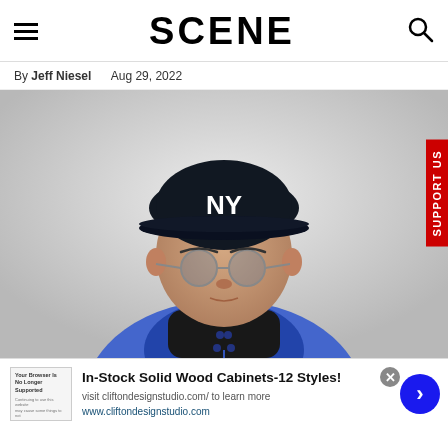SCENE
By Jeff Niesel   Aug 29, 2022
[Figure (photo): Man wearing a NY Yankees cap and round glasses, with a blue leather jacket and black turtleneck, photographed against a light grey background]
SUPPORT US
[Figure (screenshot): Advertisement thumbnail showing text 'Your Browser Is No Longer Supported']
In-Stock Solid Wood Cabinets-12 Styles! visit cliftondesignstudio.com/ to learn more www.cliftondesignstudio.com